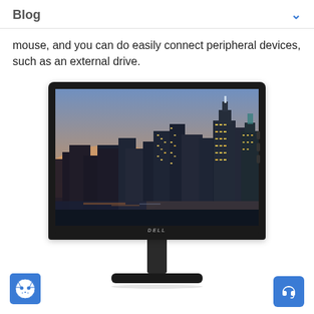Blog
mouse, and you can do easily connect peripheral devices, such as an external drive.
[Figure (photo): A Dell computer monitor displaying a cityscape at dusk with tall buildings and a colorful sky. The monitor has a black bezel, stand, and base.]
[Figure (logo): Cookie/cat face logo icon in blue square]
[Figure (infographic): Blue square button with white headset/support icon in bottom right corner]